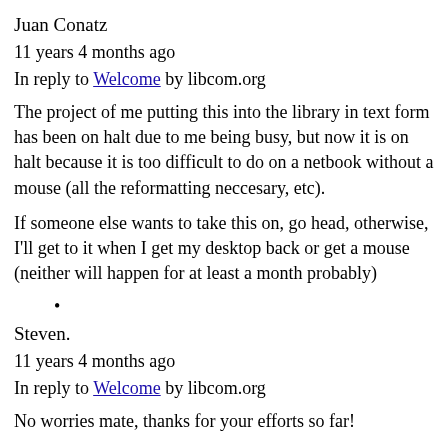Juan Conatz
11 years 4 months ago
In reply to Welcome by libcom.org
The project of me putting this into the library in text form has been on halt due to me being busy, but now it is on halt because it is too difficult to do on a netbook without a mouse (all the reformatting neccesary, etc).
If someone else wants to take this on, go head, otherwise, I'll get to it when I get my desktop back or get a mouse (neither will happen for at least a month probably)
•
Steven.
11 years 4 months ago
In reply to Welcome by libcom.org
No worries mate, thanks for your efforts so far!
•